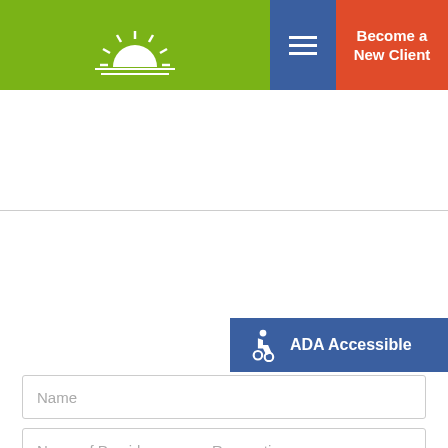Become a New Client
How can we help you?
ADA Accessible
Name
Name of Provider you are Requesting